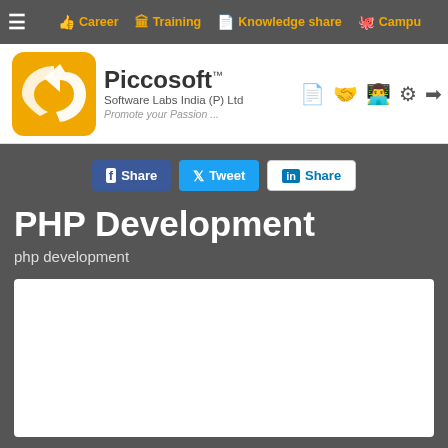≡  Career  Training  Knowledge share  Campu
[Figure (logo): Piccosoft logo: orange rounded square with white arrow/swoosh icon]
Piccosoft™
Software Labs India (P) Ltd
Promote your Passion ...
f Share  Tweet  in Share
PHP Development
php development
[Figure (other): White content box area (empty image/content region)]